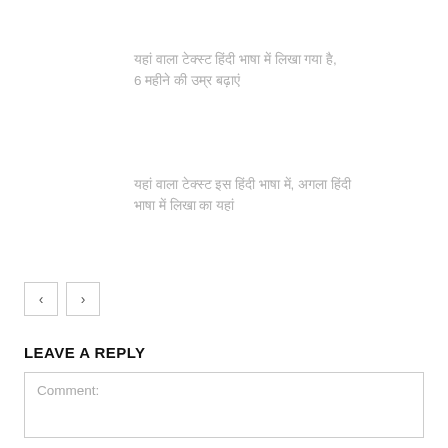यहां वाला टेक्स्ट हिंदी भाषा में लिखा गया है, 6 महीने की उम्र बढ़ाएं
यहां वाला टेक्स्ट इस हिंदी भाषा में, अगला हिंदी भाषा में लिखा का यहां
LEAVE A REPLY
Comment: